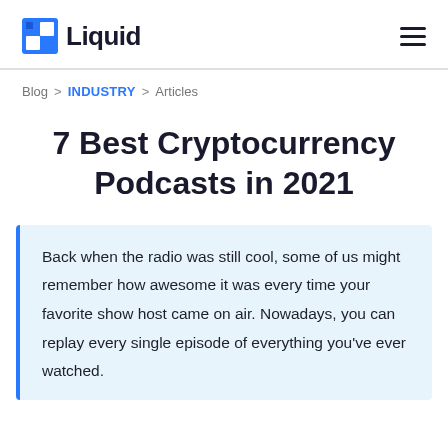Liquid
Blog > INDUSTRY > Articles
7 Best Cryptocurrency Podcasts in 2021
Back when the radio was still cool, some of us might remember how awesome it was every time your favorite show host came on air. Nowadays, you can replay every single episode of everything you’ve ever watched.